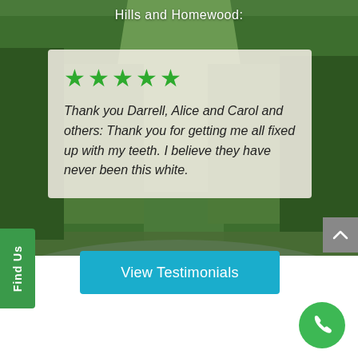Hills and Homewood:
[Figure (photo): Background photo of a forest road with tall green pine trees on both sides, viewed from above, with a wet or flooded road surface]
★★★★★
Thank you Darrell, Alice and Carol and others: Thank you for getting me all fixed up with my teeth. I believe they have never been this white.
View Testimonials
Find Us